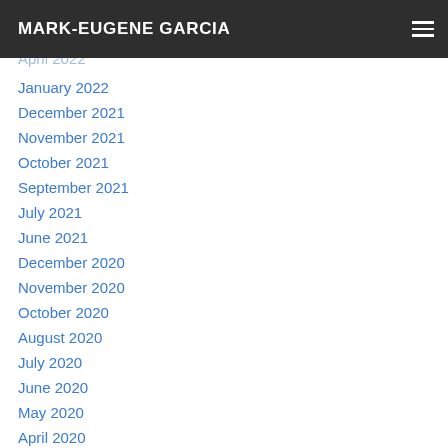MARK-EUGENE GARCIA
April 2022
January 2022
December 2021
November 2021
October 2021
September 2021
July 2021
June 2021
December 2020
November 2020
October 2020
August 2020
July 2020
June 2020
May 2020
April 2020
February 2020
December 2019